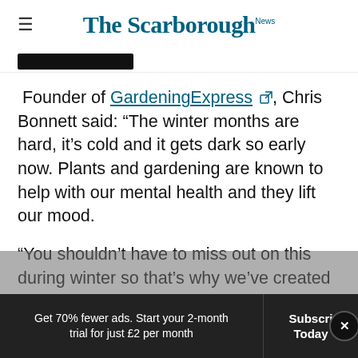The Scarborough News
[Figure (screenshot): Partial dark image/banner below header]
Founder of GardeningExpress, Chris Bonnett said: "The winter months are hard, it's cold and it gets dark so early now. Plants and gardening are known to help with our mental health and they lift our mood.
"You shouldn't have to miss out on this during winter so that's why we've created a list of the best indoor plants that will brighten up your
Get 70% fewer ads. Start your 2-month trial for just £2 per month
Subscribe Today